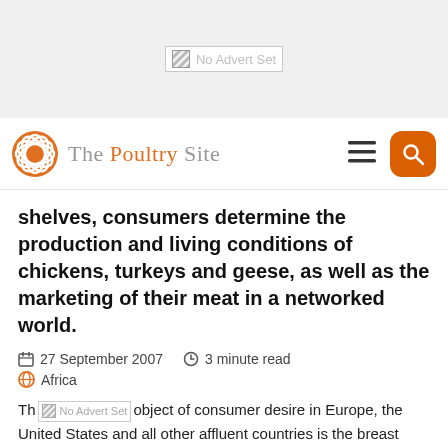[Figure (other): No Advert Set placeholder image in top banner area]
The Poultry Site
shelves, consumers determine the production and living conditions of chickens, turkeys and geese, as well as the marketing of their meat in a networked world.
27 September 2007   3 minute read   Africa
The object of consumer desire in Europe, the United States and all other affluent countries is the breast fillet, free of bones and low in fat. The remainder of the animal is practically unsellable in these industrialized countries.